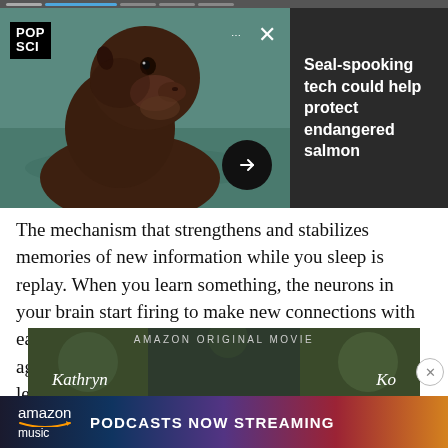[Figure (screenshot): A popup notification card showing a sea lion/seal photo on the left with POP SCI logo, dots menu, and X close button, alongside a dark panel with the headline 'Seal-spooking tech could help protect endangered salmon' and an arrow navigation button]
The mechanism that strengthens and stabilizes memories of new information while you sleep is replay. When you learn something, the neurons in your brain start firing to make new connections with each other. Once you hit the sack, those neurons fire again in a similar pattern to when you were awake and learning.
[Figure (screenshot): Amazon Original Movie advertisement banner with dark background showing names 'Kathryn' and 'Ko' in handwritten style]
[Figure (screenshot): Amazon Music advertisement bar at bottom with gradient background and text 'PODCASTS NOW STREAMING']